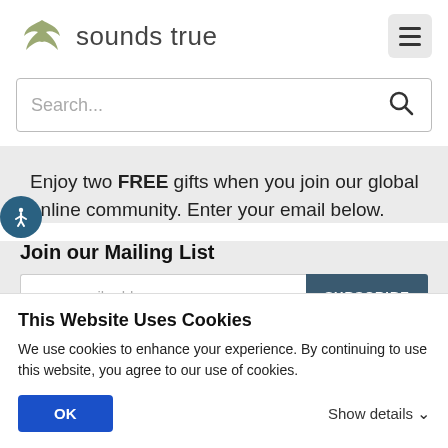[Figure (logo): Sounds True logo with stylized wing icon in olive/green color and the text 'sounds true' in gray]
[Figure (screenshot): Hamburger menu button (three horizontal lines) in a light gray rounded square]
[Figure (screenshot): Search bar with placeholder text 'Search...' and a magnifying glass icon]
Enjoy two FREE gifts when you join our global online community. Enter your email below.
Join our Mailing List
[Figure (screenshot): Email input field with placeholder 'your email address' and a dark teal SUBSCRIBE button]
This Website Uses Cookies
We use cookies to enhance your experience. By continuing to use this website, you agree to our use of cookies.
OK
Show details